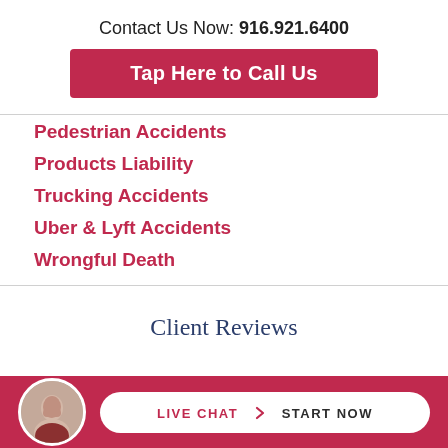Contact Us Now: 916.921.6400
Tap Here to Call Us
Pedestrian Accidents
Products Liability
Trucking Accidents
Uber & Lyft Accidents
Wrongful Death
Client Reviews
LIVE CHAT › START NOW